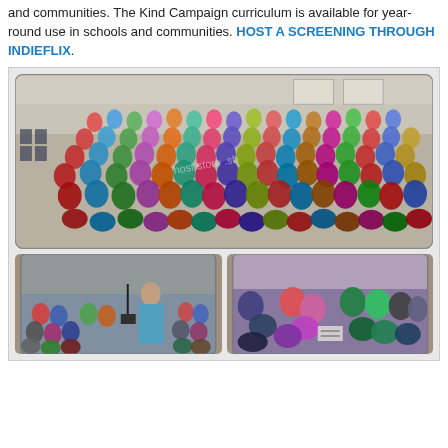and communities. The Kind Campaign curriculum is available for year-round use in schools and communities. HOST A SCREENING THROUGH INDIEFLIX.
[Figure (photo): Large group photo of hundreds of students and adults gathered in a school gymnasium or cafeteria for what appears to be a Kind Campaign assembly or screening event. Students are posing together in rows filling the space. Three photos total: one large group photo on top, and two smaller photos on the bottom showing a presenter speaking to a seated audience (left) and small groups of students interacting/writing (right).]